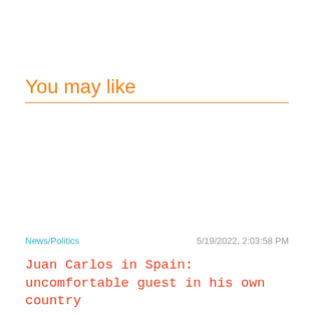You may like
News/Politics
5/19/2022, 2:03:58 PM
Juan Carlos in Spain: uncomfortable guest in his own country